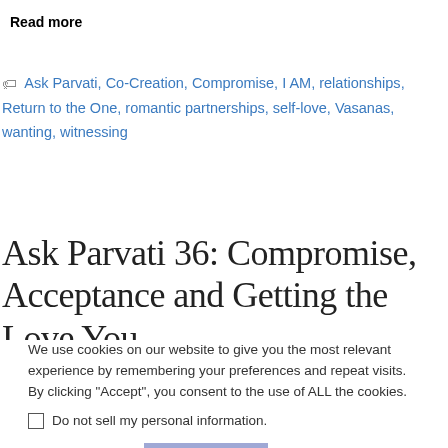Read more
Ask Parvati, Co-Creation, Compromise, I AM, relationships, Return to the One, romantic partnerships, self-love, Vasanas, wanting, witnessing
Ask Parvati 36: Compromise, Acceptance and Getting the Love You
We use cookies on our website to give you the most relevant experience by remembering your preferences and repeat visits. By clicking “Accept”, you consent to the use of ALL the cookies.
Do not sell my personal information.
Cookie settings  ACCEPT